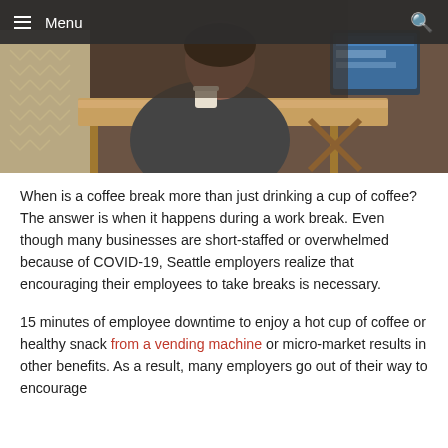Menu
[Figure (photo): Person sitting at a wooden desk holding a cup, with a monitor visible in the background. Warm indoor lighting.]
When is a coffee break more than just drinking a cup of coffee? The answer is when it happens during a work break. Even though many businesses are short-staffed or overwhelmed because of COVID-19, Seattle employers realize that encouraging their employees to take breaks is necessary.
15 minutes of employee downtime to enjoy a hot cup of coffee or healthy snack from a vending machine or micro-market results in other benefits. As a result, many employers go out of their way to encourage